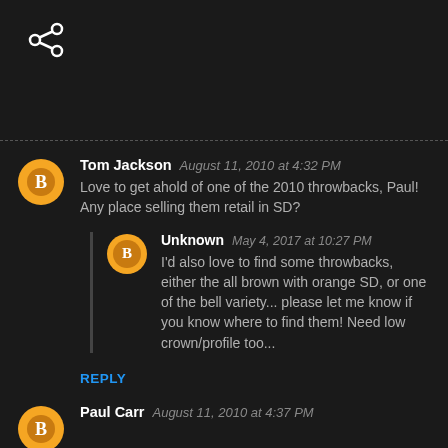[Figure (other): Share icon (less-than arrow symbol) in white on dark background]
Tom Jackson August 11, 2010 at 4:32 PM
Love to get ahold of one of the 2010 throwbacks, Paul! Any place selling them retail in SD?
Unknown May 4, 2017 at 10:27 PM
I'd also love to find some throwbacks, either the all brown with orange SD, or one of the bell variety... please let me know if you know where to find them! Need low crown/profile too...
REPLY
Paul Carr August 11, 2010 at 4:37 PM